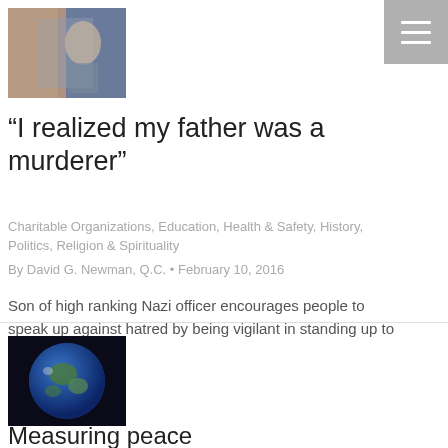[Figure (photo): Thumbnail image of people, appears to show historical figures]
“I realized my father was a murderer”
Charitable Organizations, Education, Health & Safety, History, Politics, Religion & Spirituality
By David G. Newman, Q.C. • February 10, 2016
Son of high ranking Nazi officer encourages people to speak up against hatred by being vigilant in standing up to perpetrators.
[Figure (photo): Thumbnail image of Earth from space]
Measuring peace